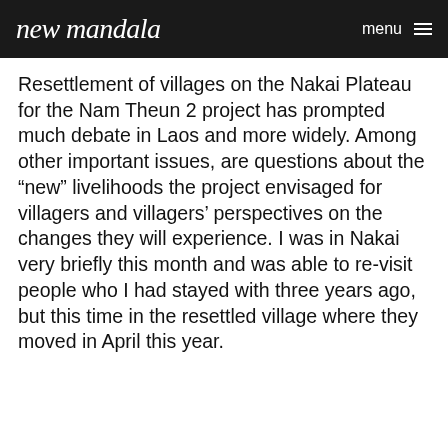new mandala   menu
Resettlement of villages on the Nakai Plateau for the Nam Theun 2 project has prompted much debate in Laos and more widely. Among other important issues, are questions about the “new” livelihoods the project envisaged for villagers and villagers’ perspectives on the changes they will experience. I was in Nakai very briefly this month and was able to re-visit people who I had stayed with three years ago, but this time in the resettled village where they moved in April this year.